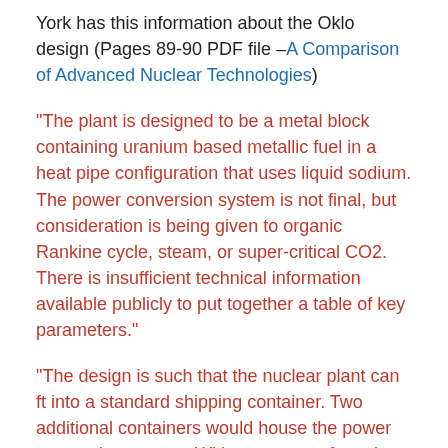York has this information about the Oklo design (Pages 89-90 PDF file –A Comparison of Advanced Nuclear Technologies)
“The plant is designed to be a metal block containing uranium based metallic fuel in a heat pipe configuration that uses liquid sodium. The power conversion system is not final, but consideration is being given to organic Rankine cycle, steam, or super-critical CO2. There is insufficient technical information available publicly to put together a table of key parameters.”
“The design is such that the nuclear plant can ft into a standard shipping container. Two additional containers would house the power conversion system. With mass manufacturing of these small modules, designers claim they can produce electricity for $0.03/kWh. While the